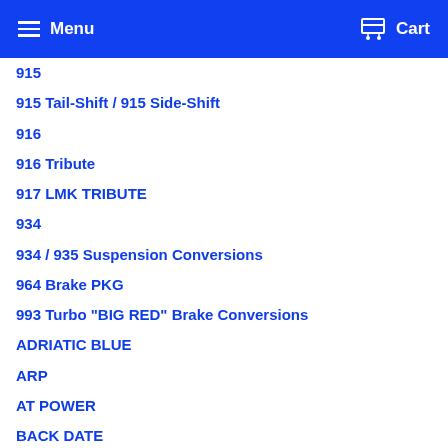Menu | Cart
915
915 Tail-Shift / 915 Side-Shift
916
916 Tribute
917 LMK TRIBUTE
934
934 / 935 Suspension Conversions
964 Brake PKG
993 Turbo "BIG RED" Brake Conversions
ADRIATIC BLUE
ARP
AT POWER
BACK DATE
Backdate
BBS
BILSTEIN
Blue
BORGWARNER
Boxster Spec Race Car (BSR)